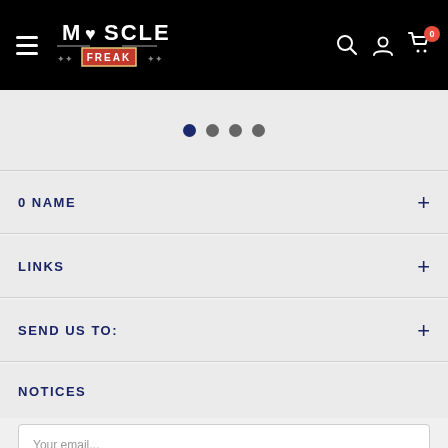[Figure (screenshot): Muscle Freak website navigation bar with hamburger menu, logo, search icon, user icon, and cart icon with badge showing 0]
[Figure (other): Carousel pagination dots: 4 dots, first dot is active/filled dark blue, rest are grey]
0 NAME
LINKS
SEND US TO:
NOTICES
Your email...